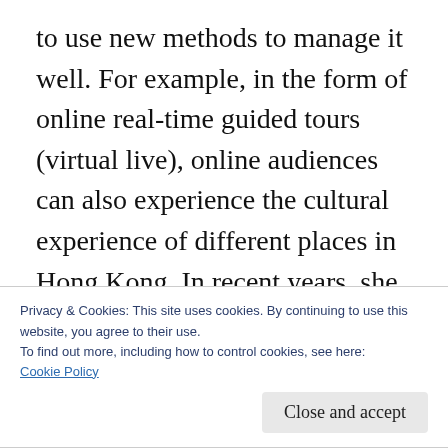to use new methods to manage it well. For example, in the form of online real-time guided tours (virtual live), online audiences can also experience the cultural experience of different places in Hong Kong. In recent years, she has also put more information on social media to make the promotion culture closer to the audience. She said that in the early days of her business, she mainly contacted new customers on some large travel websites, so using different online channels in the early
Privacy & Cookies: This site uses cookies. By continuing to use this website, you agree to their use.
To find out more, including how to control cookies, see here:
Cookie Policy
Close and accept